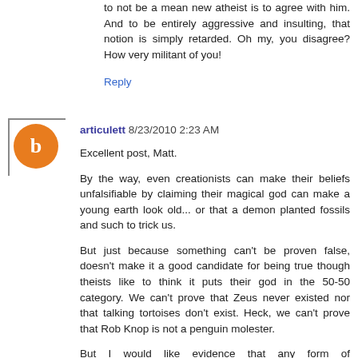to not be a mean new atheist is to agree with him. And to be entirely aggressive and insulting, that notion is simply retarded. Oh my, you disagree? How very militant of you!
Reply
articulett 8/23/2010 2:23 AM
Excellent post, Matt.
By the way, even creationists can make their beliefs unfalsifiable by claiming their magical god can make a young earth look old... or that a demon planted fossils and such to trick us.
But just because something can't be proven false, doesn't make it a good candidate for being true though theists like to think it puts their god in the 50-50 category. We can't prove that Zeus never existed nor that talking tortoises don't exist. Heck, we can't prove that Rob Knop is not a penguin molester.
But I would like evidence that any form of consciousness...